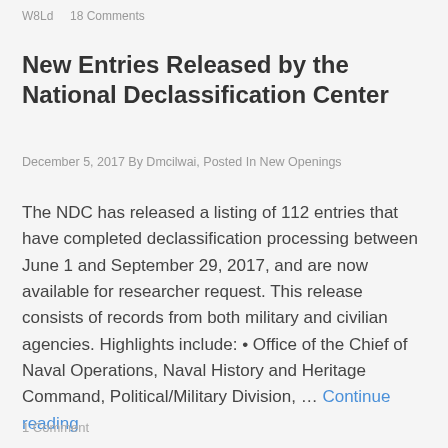W8Ld · 18 Comments
New Entries Released by the National Declassification Center
December 5, 2017 By Dmcilwai, Posted In New Openings
The NDC has released a listing of 112 entries that have completed declassification processing between June 1 and September 29, 2017, and are now available for researcher request. This release consists of records from both military and civilian agencies. Highlights include: • Office of the Chief of Naval Operations, Naval History and Heritage Command, Political/Military Division, … Continue reading
1 Comment